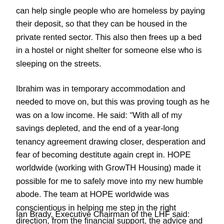can help single people who are homeless by paying their deposit, so that they can be housed in the private rented sector. This also then frees up a bed in a hostel or night shelter for someone else who is sleeping on the streets.
Ibrahim was in temporary accommodation and needed to move on, but this was proving tough as he was on a low income. He said: “With all of my savings depleted, and the end of a year-long tenancy agreement drawing closer, desperation and fear of becoming destitute again crept in. HOPE worldwide (working with GrowTH Housing) made it possible for me to safely move into my new humble abode. The team at HOPE worldwide was conscientious in helping me step in the right direction, from the financial support, the advice and to the efficiency of their communications with landlords on my behalf. I could not have done it on my own and I am deeply grateful”
Ian Brady, Executive Chairman of the LHF said: “This is exactly the